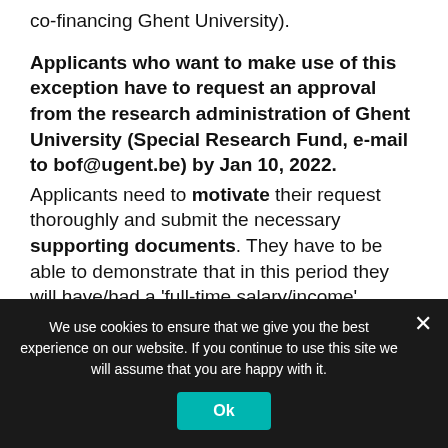co-financing Ghent University).
Applicants who want to make use of this exception have to request an approval from the research administration of Ghent University (Special Research Fund, e-mail to bof@ugent.be) by Jan 10, 2022.
Applicants need to motivate their request thoroughly and submit the necessary supporting documents. They have to be able to demonstrate that in this period they will have/had a 'full-time salary/income'
We use cookies to ensure that we give you the best experience on our website. If you continue to use this site we will assume that you are happy with it.